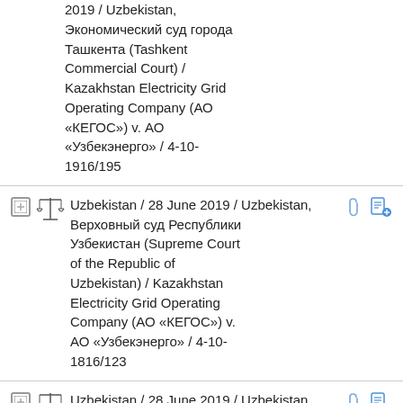2019 / Uzbekistan, Экономический суд города Ташкента (Tashkent Commercial Court) / Kazakhstan Electricity Grid Operating Company (АО «КЕГОС») v. АО «Узбекэнерго» / 4-10-1916/195
Uzbekistan / 28 June 2019 / Uzbekistan, Верховный суд Республики Узбекистан (Supreme Court of the Republic of Uzbekistan) / Kazakhstan Electricity Grid Operating Company (АО «КЕГОС») v. АО «Узбекэнерго» / 4-10-1816/123
Uzbekistan / 28 June 2019 / Uzbekistan, Верховный суд Республики